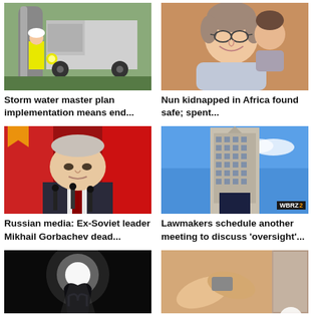[Figure (photo): Worker in yellow vest near large gray truck with hose]
Storm water master plan implementation means end...
[Figure (photo): Elderly smiling woman with glasses]
Nun kidnapped in Africa found safe; spent...
[Figure (photo): Mikhail Gorbachev speaking at microphones with red flags behind]
Russian media: Ex-Soviet leader Mikhail Gorbachev dead...
[Figure (photo): Tall government building photographed from below against blue sky with WBRZ 2 logo]
Lawmakers schedule another meeting to discuss 'oversight'...
[Figure (photo): Dark image with bright light and silhouette]
[Figure (photo): Close up of hands with up arrow overlay icon]